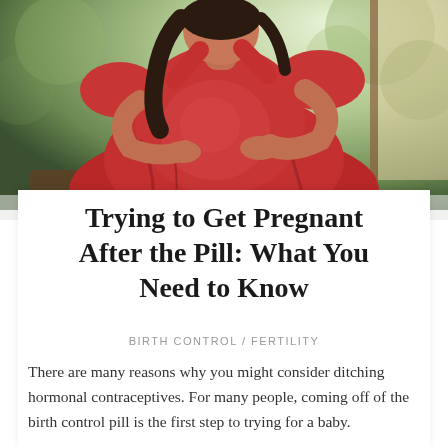[Figure (photo): A pregnant woman in a red dress sitting by a window, cradling her baby bump with both hands. Soft natural light, bokeh background with green foliage.]
Trying to Get Pregnant After the Pill: What You Need to Know
BIRTH CONTROL / FERTILITY
There are many reasons why you might consider ditching hormonal contraceptives. For many people, coming off of the birth control pill is the first step to trying for a baby.